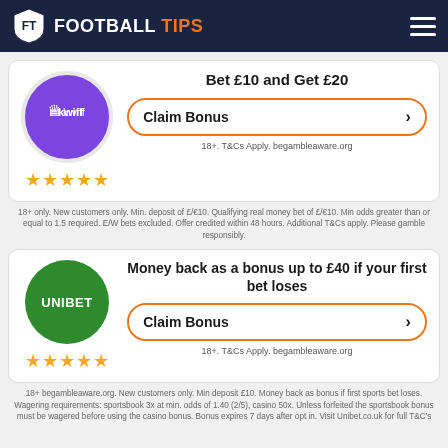FOOTBALL TIPS
[Figure (logo): Kwiff purple circle logo with crown icon and kwiff text]
Bet £10 and Get £20
Claim Bonus
18+. T&Cs Apply. begambleaware.org
★★★★★
18+ only. New customers only. Min. deposit of £/€10. Qualifying real money bet of £/€10. Min odds greater than or equal to 1.5 required. E/W bets excluded. Offer credited within 48 hours. Additional T&Cs apply. Please gamble responsibly.
[Figure (logo): Unibet green circle logo with UNIBET text]
Money back as a bonus up to £40 if your first bet loses
Claim Bonus
18+. T&Cs Apply. begambleaware.org
★★★★★
18+ begambleaware.org. New customers only. Min deposit £10. Money back as bonus if first sports bet loses. Wagering requirements: sportsbook 3x at min. odds of 1.40 (2/5), casino 50x. Unless forfeited the sportsbook bonus must be wagered before using the casino bonus. Bonus expires 7 days after opt in. Visit Unibet.co.uk for full T&C's